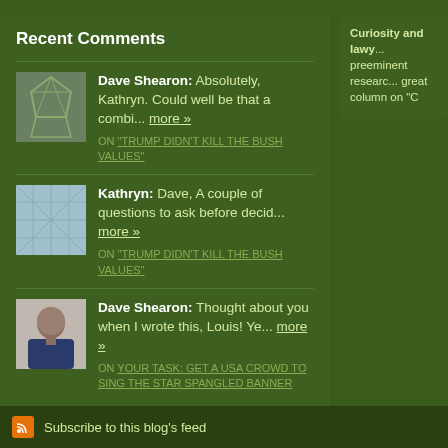Recent Comments
Dave Shearon: Absolutely, Kathryn. Could well be that a combi... more » ON "TRUMP DIDN'T KILL THE BUSH VALUES"
Kathryn: Dave, A couple of questions to ask before decid... more » ON "TRUMP DIDN'T KILL THE BUSH VALUES"
Dave Shearon: Thought about you when I wrote this, Louis! Ye... more » ON YOUR TASK: GET A USA CROWD TO SING THE STAR SPANGLED BANNER
Curiosity and lawy... preeminent researc... great column on "C
Subscribe to this blog's feed